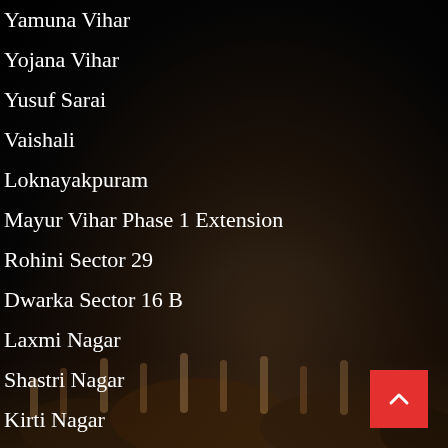Yamuna Vihar
Yojana Vihar
Yusuf Sarai
Vaishali
Loknayakpuram
Mayur Vihar Phase 1 Extension
Rohini Sector 29
Dwarka Sector 16 B
Laxmi Nagar
Shastri Nagar
Kirti Nagar
[Figure (illustration): Dark background with crowd of people with raised hands at the bottom, and a red 'back to top' button with upward chevron arrow in the bottom right corner.]